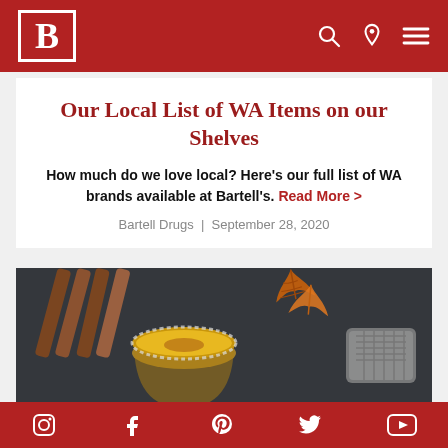Bartell Drugs header with logo and navigation icons
Our Local List of WA Items on our Shelves
How much do we love local? Here's our full list of WA brands available at Bartell's. Read More >
Bartell Drugs | September 28, 2020
[Figure (photo): Autumn-themed flat lay with cinnamon sticks, an orange maple leaf, a cup of golden spiced drink, and a metal strainer on a dark stone surface]
Social media icons: Instagram, Facebook, Pinterest, Twitter, YouTube